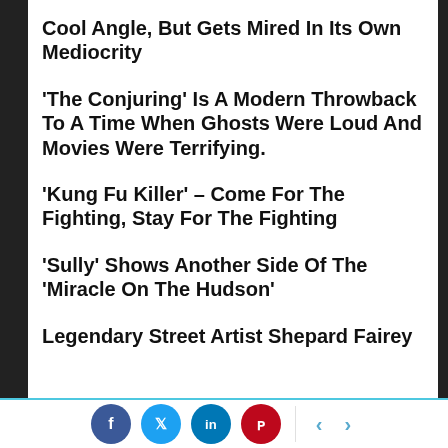Cool Angle, But Gets Mired In Its Own Mediocrity
‘The Conjuring’ Is A Modern Throwback To A Time When Ghosts Were Loud And Movies Were Terrifying.
‘Kung Fu Killer’ – Come For The Fighting, Stay For The Fighting
‘Sully’ Shows Another Side Of The ‘Miracle On The Hudson’
Legendary Street Artist Shepard Fairey Reviews...
[Figure (other): Social sharing bar with Facebook, Twitter, LinkedIn, Pinterest buttons and left/right navigation arrows]